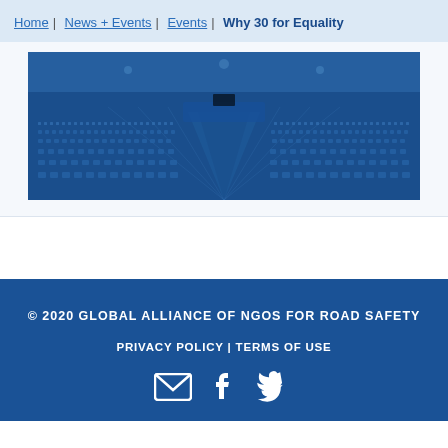Home | News + Events | Events | Why 30 for Equality
[Figure (photo): A wide-angle blue-tinted photograph of a large legislative assembly hall or auditorium with rows of empty seats viewed from the back towards a stage/podium area.]
© 2020 GLOBAL ALLIANCE OF NGOS FOR ROAD SAFETY
PRIVACY POLICY | TERMS OF USE